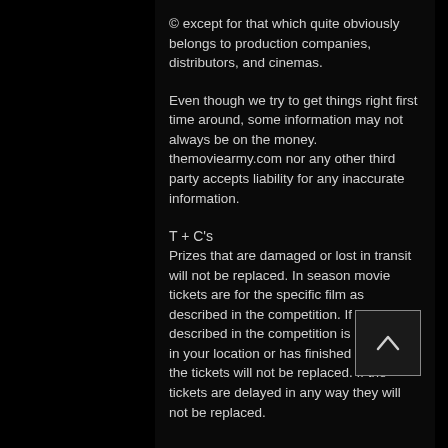© except for that which quite obviously belongs to production companies, distributors, and cinemas.
Even though we try to get things right first time around, some information may not always be on the money. themoviearmy.com nor any other third party accepts liability for any inaccurate information.
T + C's
Prizes that are damaged or lost in transit will not be replaced. In season movie tickets are for the specific film as described in the competition. If the film described in the competition is not playing in your location or has finished its season the tickets will not be replaced. If the tickets are delayed in any way they will not be replaced.